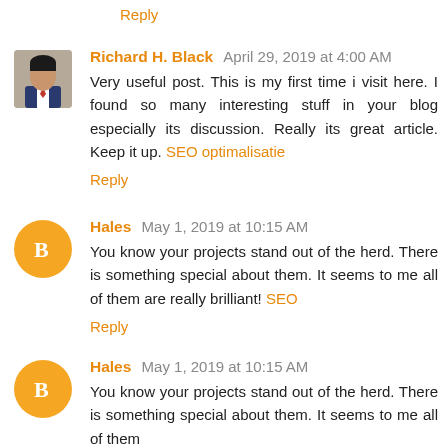Reply
Richard H. Black  April 29, 2019 at 4:00 AM
Very useful post. This is my first time i visit here. I found so many interesting stuff in your blog especially its discussion. Really its great article. Keep it up. SEO optimalisatie
Reply
Hales  May 1, 2019 at 10:15 AM
You know your projects stand out of the herd. There is something special about them. It seems to me all of them are really brilliant! SEO
Reply
Hales  May 1, 2019 at 10:15 AM
You know your projects stand out of the herd. There is something special about them. It seems to me all of them